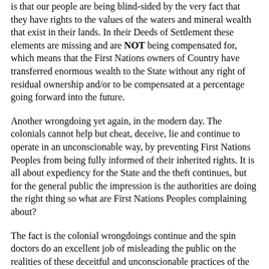is that our people are being blind-sided by the very fact that they have rights to the values of the waters and mineral wealth that exist in their lands. In their Deeds of Settlement these elements are missing and are NOT being compensated for, which means that the First Nations owners of Country have transferred enormous wealth to the State without any right of residual ownership and/or to be compensated at a percentage going forward into the future.
Another wrongdoing yet again, in the modern day. The colonials cannot help but cheat, deceive, lie and continue to operate in an unconscionable way, by preventing First Nations Peoples from being fully informed of their inherited rights. It is all about expediency for the State and the theft continues, but for the general public the impression is the authorities are doing the right thing so what are First Nations Peoples complaining about?
The fact is the colonial wrongdoings continue and the spin doctors do an excellent job of misleading the public on the realities of these deceitful and unconscionable practices of the colonial authorities, from which they benefit.
I can assure the public that these agreements and so-called treaties are being negotiated as domestic treaties where the First Nations Peoples rights that are being accepted are those that are written into the State or Territory constitutions, that is, no State or